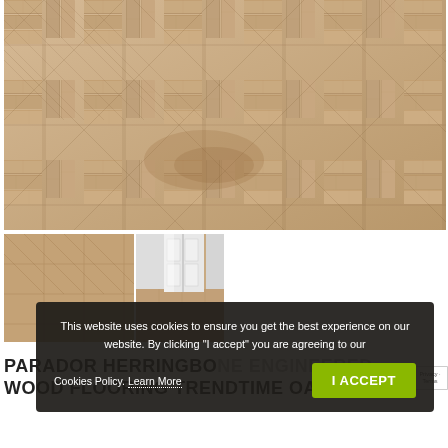[Figure (photo): Close-up herringbone pattern hardwood oak flooring in light beige/tan tones]
[Figure (photo): Thumbnail image of herringbone oak flooring with white door/wall in background]
[Figure (other): Cookie consent banner with dark background, text about cookies policy, Learn More link, and green I ACCEPT button]
PARADOR HERRINGBONE ENGINEERED WOOD FLOORING TRENDTIME OAK